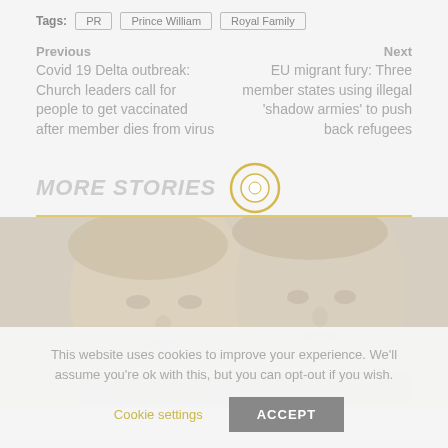Tags: PR  Prince William  Royal Family
Previous
Covid 19 Delta outbreak: Church leaders call for people to get vaccinated after member dies from virus
Next
EU migrant fury: Three member states using illegal 'shadow armies' to push back refugees
MORE STORIES
[Figure (photo): Two men in suits, faces shown close-up side by side]
This website uses cookies to improve your experience. We'll assume you're ok with this, but you can opt-out if you wish.
Cookie settings  ACCEPT